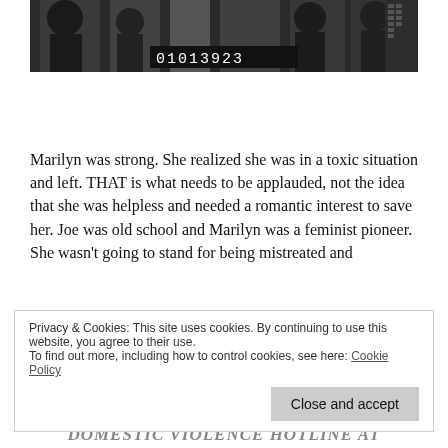[Figure (photo): Black and white photo showing people, with a number display reading 01013923 visible at the bottom of the image.]
Marilyn was strong. She realized she was in a toxic situation and left. THAT is what needs to be applauded, not the idea that she was helpless and needed a romantic interest to save her. Joe was old school and Marilyn was a feminist pioneer. She wasn't going to stand for being mistreated and
Privacy & Cookies: This site uses cookies. By continuing to use this website, you agree to their use.
To find out more, including how to control cookies, see here: Cookie Policy
Close and accept
DOMESTIC VIOLENCE HOTLINE AT